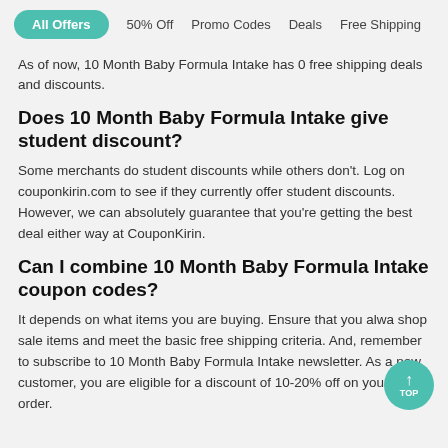All Offers  50% Off  Promo Codes  Deals  Free Shipping
As of now, 10 Month Baby Formula Intake has 0 free shipping deals and discounts.
Does 10 Month Baby Formula Intake give student discount?
Some merchants do student discounts while others don't. Log on couponkirin.com to see if they currently offer student discounts. However, we can absolutely guarantee that you're getting the best deal either way at CouponKirin.
Can I combine 10 Month Baby Formula Intake coupon codes?
It depends on what items you are buying. Ensure that you always shop sale items and meet the basic free shipping criteria. And, remember to subscribe to 10 Month Baby Formula Intake newsletter. As a new customer, you are eligible for a discount of 10-20% off on your first order.